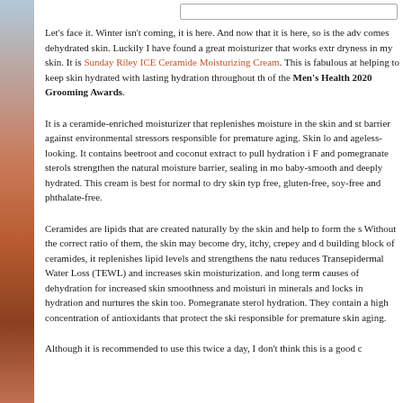[Figure (photo): Decorative side image with gradient colors from blue-grey to copper/brown tones on the left edge of the page]
Let's face it. Winter isn't coming, it is here. And now that it is here, so is the adv comes dehydrated skin. Luckily I have found a great moisturizer that works extr dryness in my skin. It is Sunday Riley ICE Ceramide Moisturizing Cream. This is fabulous at helping to keep skin hydrated with lasting hydration throughout th of the Men's Health 2020 Grooming Awards.
It is a ceramide-enriched moisturizer that replenishes moisture in the skin and st barrier against environmental stressors responsible for premature aging. Skin lo and ageless-looking. It contains beetroot and coconut extract to pull hydration i F and pomegranate sterols strengthen the natural moisture barrier, sealing in mo baby-smooth and deeply hydrated. This cream is best for normal to dry skin typ free, gluten-free, soy-free and phthalate-free.
Ceramides are lipids that are created naturally by the skin and help to form the s Without the correct ratio of them, the skin may become dry, itchy, crepey and d building block of ceramides, it replenishes lipid levels and strengthens the natu reduces Transepidermal Water Loss (TEWL) and increases skin moisturization. and long term causes of dehydration for increased skin smoothness and moisturi in minerals and locks in hydration and nurtures the skin too. Pomegranate sterol hydration. They contain a high concentration of antioxidants that protect the ski responsible for premature skin aging.
Although it is recommended to use this twice a day, I don't think this is a good c